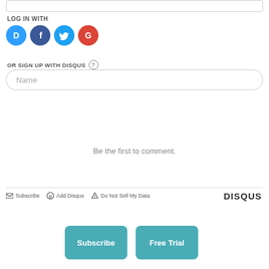[Figure (screenshot): Top input bar (search or comment field)]
LOG IN WITH
[Figure (infographic): Social login icons: Disqus (blue), Facebook (dark blue), Twitter (light blue), Google (red)]
OR SIGN UP WITH DISQUS ?
[Figure (screenshot): Name input field with rounded border]
Be the first to comment.
Subscribe  Add Disqus  Do Not Sell My Data  DISQUS
[Figure (screenshot): Subscribe button (teal) and Free Trial button (teal) side by side]